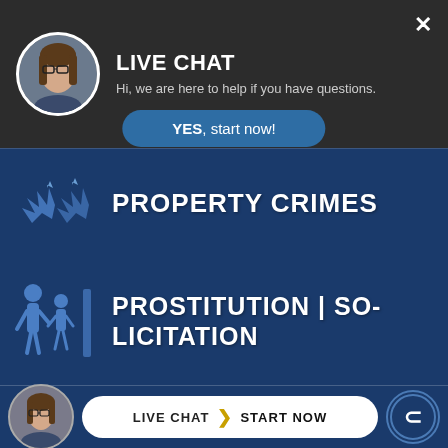[Figure (screenshot): Live chat overlay with woman avatar, dark header, YES start now button, and legal services website showing property crimes, prostitution/solicitation, and resisting arrest categories with icons]
LIVE CHAT
Hi, we are here to help if you have questions.
YES, start now!
PROPERTY CRIMES
PROSTITUTION | SOLICITATION
RESISTING ARREST
LIVE CHAT  START NOW